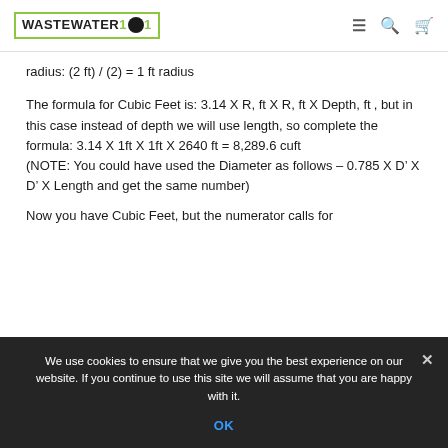WASTEWATER 101
radius: (2 ft) / (2) = 1 ft radius
The formula for Cubic Feet is: 3.14 X R, ft X R, ft X Depth, ft², but in this case instead of depth we will use length, so complete the formula: 3.14 X 1ft X 1ft X 2640 ft = 8,289.6 cuft
(NOTE: You could have used the Diameter as follows – 0.785 X D’ X D’ X Length and get the same number)
Now you have Cubic Feet, but the numerator calls for
We use cookies to ensure that we give you the best experience on our website. If you continue to use this site we will assume that you are happy with it.
OK